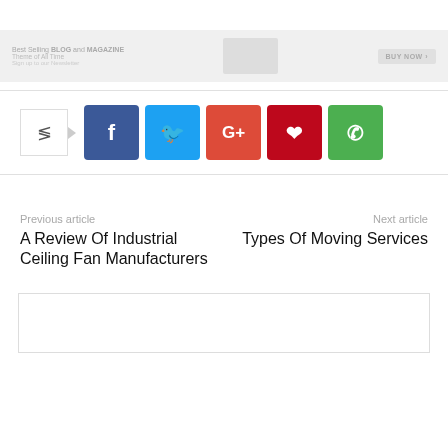[Figure (screenshot): Banner advertisement: Best Selling BLOG and MAGAZINE Theme of All Time. BUY NOW button on right.]
[Figure (infographic): Social share buttons row: share icon box with arrow, then Facebook (blue), Twitter (cyan), Google+ (orange-red), Pinterest (dark red), WhatsApp (green) square buttons.]
Previous article
A Review Of Industrial Ceiling Fan Manufacturers
Next article
Types Of Moving Services
[Figure (screenshot): Empty comment box area at bottom]